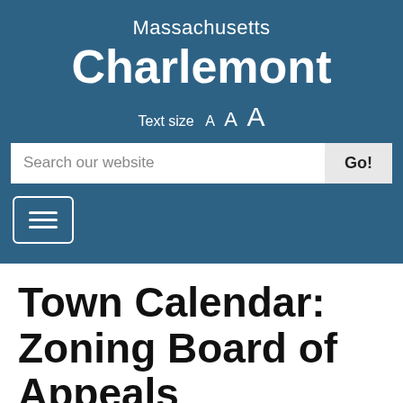Massachusetts
Charlemont
Text size  A  A  A
Search our website
[Figure (other): Hamburger menu navigation button with three horizontal white lines inside a rounded rectangle border]
Town Calendar: Zoning Board of Appeals
This is our Calendar. Click the "previous" and "next" links to browse through the months. More events at the...